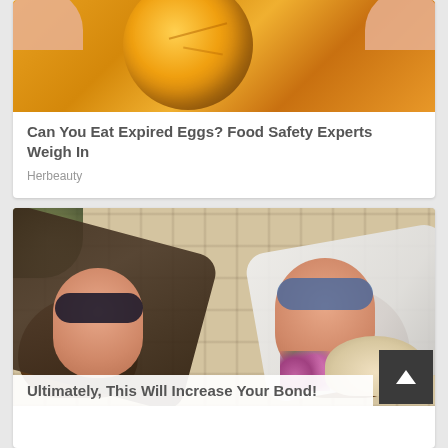[Figure (photo): Close-up photo of a cracked egg yolk with golden/orange color, fingers visible on sides]
Can You Eat Expired Eggs? Food Safety Experts Weigh In
Herbeauty
[Figure (photo): Aerial view of two young women with sunglasses lying on a plaid blanket outdoors, smiling, with flowers and a hat nearby]
Ultimately, This Will Increase Your Bond!